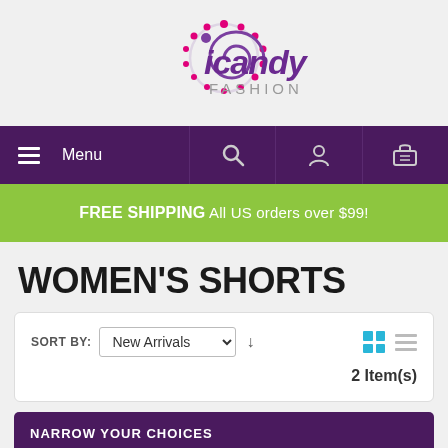[Figure (logo): icandy Fashion logo with spiral swirl graphic and pink dots]
[Figure (screenshot): Navigation bar with hamburger Menu, search icon, user icon, cart icon on purple background]
FREE SHIPPING All US orders over $99!
WOMEN'S SHORTS
SORT BY: New Arrivals ↓   2 Item(s)
NARROW YOUR CHOICES
size: 9